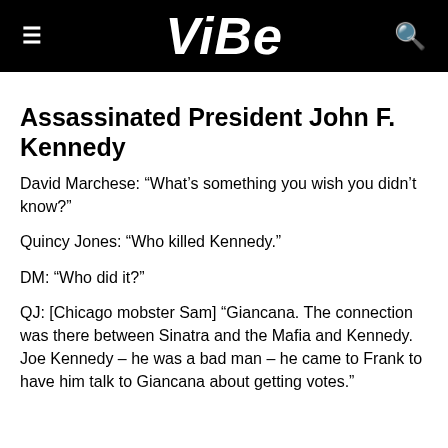VIBE
Assassinated President John F. Kennedy
David Marchese: “What’s something you wish you didn’t know?”
Quincy Jones: “Who killed Kennedy.”
DM: “Who did it?”
QJ: [Chicago mobster Sam] “Giancana. The connection was there between Sinatra and the Mafia and Kennedy. Joe Kennedy – he was a bad man – he came to Frank to have him talk to Giancana about getting votes.”